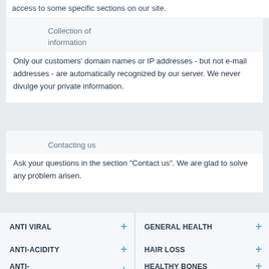access to some specific sections on our site.
Collection of information
Only our customers' domain names or IP addresses - but not e-mail addresses - are automatically recognized by our server. We never divulge your private information.
Contacting us
Ask your questions in the section "Contact us". We are glad to solve any problem arisen.
ANTI VIRAL +
GENERAL HEALTH +
ANTI-ACIDITY +
HAIR LOSS +
ANTI-ALLERGIC/ASTHMA +
HEALTHY BONES +